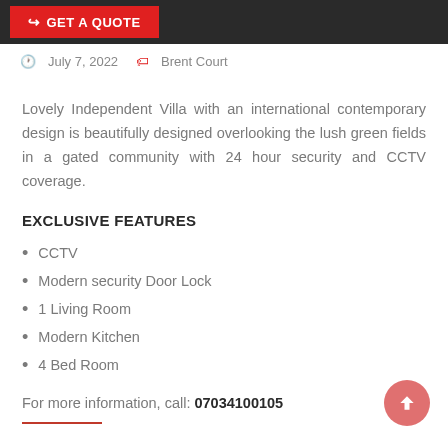GET A QUOTE
July 7, 2022  Brent Court
Lovely Independent Villa with an international contemporary design is beautifully designed overlooking the lush green fields in a gated community with 24 hour security and CCTV coverage.
EXCLUSIVE FEATURES
CCTV
Modern security Door Lock
1 Living Room
Modern Kitchen
4 Bed Room
For more information, call: 07034100105